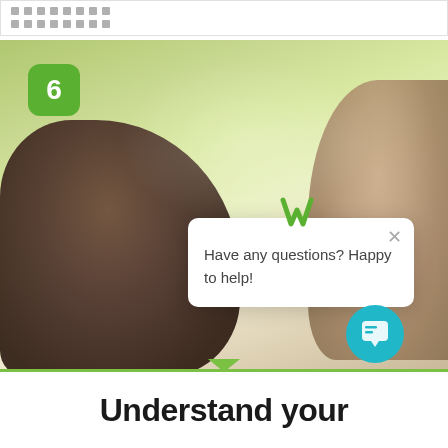[Figure (screenshot): Top strip with grey dots grid pattern on white background]
[Figure (photo): Two women sitting together, one smiling at the other, with a green number 6 badge in the top left corner, and a chat popup overlay reading 'Have any questions? Happy to help!' with a green W logo and a teal chat button in the bottom right]
Understand your